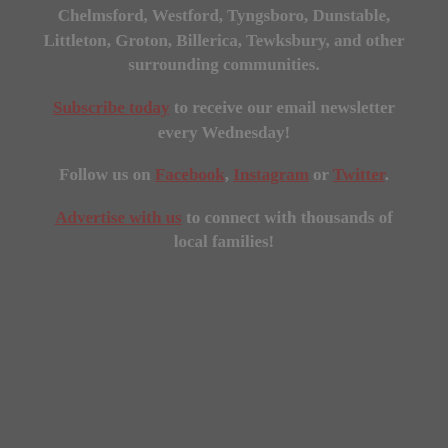Chelmsford, Westford, Tyngsboro, Dunstable, Littleton, Groton, Billerica, Tewksbury, and other surrounding communities.
Subscribe today to receive our email newsletter every Wednesday!
Follow us on Facebook, Instagram or Twitter.
Advertise with us to connect with thousands of local families!